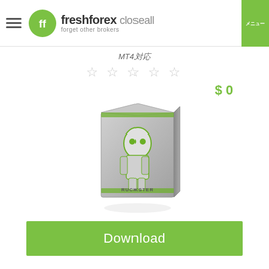freshforex  closeall  forget other brokers
MT4対応
☆ ☆ ☆ ☆ ☆
$ 0
[Figure (photo): Product box image with robot character labeled RUCKSTER]
Download
eAgressorModBest
MT4対応
☆ ☆ ☆ ☆ ☆
$ 0
[Figure (photo): Partial product box image at bottom of page]